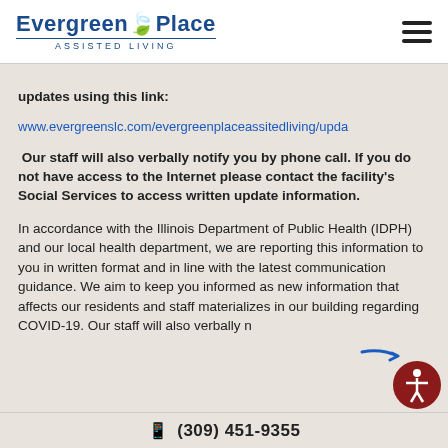[Figure (logo): Evergreen Place Assisted Living logo with green leaf accent and blue text, with hamburger menu icon on the right]
updates using this link:
www.evergreenslc.com/evergreenplaceassitedliving/upda
Our staff will also verbally notify you by phone call. If you do not have access to the Internet please contact the facility's Social Services to access written update information.
In accordance with the Illinois Department of Public Health (IDPH) and our local health department, we are reporting this information to you in written format and in line with the latest communication guidance. We aim to keep you informed as new information that affects our residents and staff materializes in our building regarding COVID-19. Our staff will also verbally n
(309) 451-9355